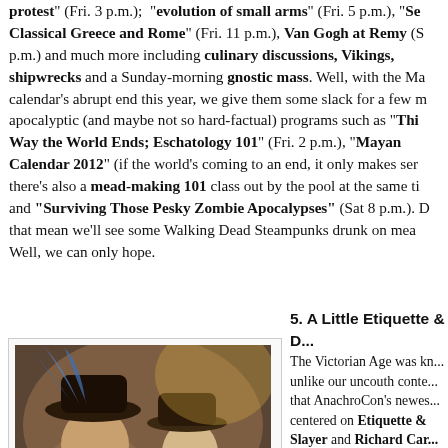protest" (Fri. 3 p.m.); "evolution of small arms" (Fri. 5 p.m.), "S... Classical Greece and Rome" (Fri. 11 p.m.), Van Gogh at Remy (S... p.m.) and much more including culinary discussions, Vikings, shipwrecks and a Sunday-morning gnostic mass. Well, with the Ma... calendar's abrupt end this year, we give them some slack for a few m... apocalyptic (and maybe not so hard-factual) programs such as "Thi... Way the World Ends; Eschatology 101" (Fri. 2 p.m.), "Mayan Calendar 2012" (if the world's coming to an end, it only makes ser... there's also a mead-making 101 class out by the pool at the same ti... and "Surviving Those Pesky Zombie Apocalypses" (Sat 8 p.m.). D... that mean we'll see some Walking Dead Steampunks drunk on mea... Well, we can only hope.
[Figure (photo): Two people in steampunk/renaissance costumes wearing hats, one with a large feathered blue hat, posing together at an event.]
The Traveling Revelers.
5. A Little Etiquette & ...
The Victorian Age was kn... unlike our uncouth conte... that AnachroCon's newes... centered on Etiquette & ... Slayer and Richard Car... world a better place by pr... Graces and how to truly e... powers to become the Tr... ConSociology classes on...